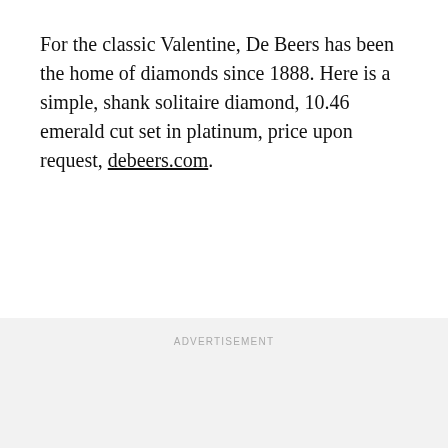For the classic Valentine, De Beers has been the home of diamonds since 1888. Here is a simple, shank solitaire diamond, 10.46 emerald cut set in platinum, price upon request, debeers.com.
ADVERTISEMENT